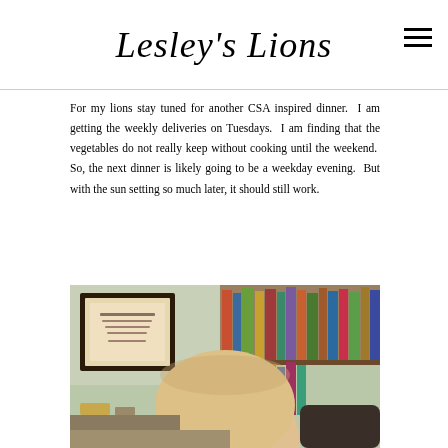Lesley's Lions
For my lions stay tuned for another CSA inspired dinner.  I am getting the weekly deliveries on Tuesdays.  I am finding that the vegetables do not really keep without cooking until the weekend.  So, the next dinner is likely going to be a weekday evening.  But with the sun setting so much later, it should still work.
[Figure (photo): A photo showing a bald-headed person seated in a room with bookshelves in the background and a framed certificate or artwork on the wall to the left.]